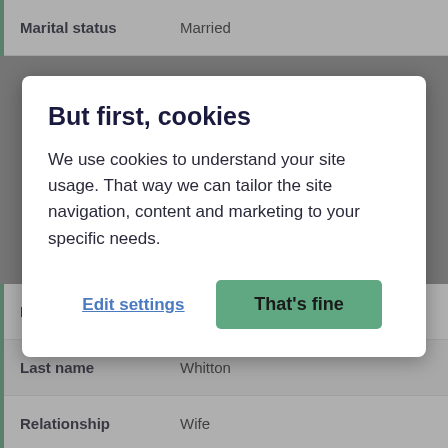| Field | Value |
| --- | --- |
| Marital status | Married |
But first, cookies
We use cookies to understand your site usage. That way we can tailor the site navigation, content and marketing to your specific needs.
| Field | Value |
| --- | --- |
| First name(s) | Sarah |
| Last name | Whitton |
| Relationship | Wife |
| Marital status | Married |
| Gender | Female |